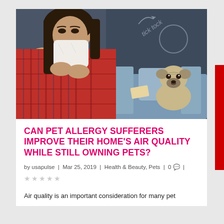[Figure (photo): A woman in a red plaid shirt blowing her nose into a tissue, looking distressed. In the background, a pug dog sits on a blue couch. The background wall has chalkboard-style writing and doodles including 'tick tock'.]
CAN PET ALLERGY SUFFERERS IMPROVE THEIR HOME'S AIR QUALITY WHILE STILL OWNING PETS?
by usapulse | Mar 25, 2019 | Health & Beauty, Pets | 0 |
Air quality is an important consideration for many pet